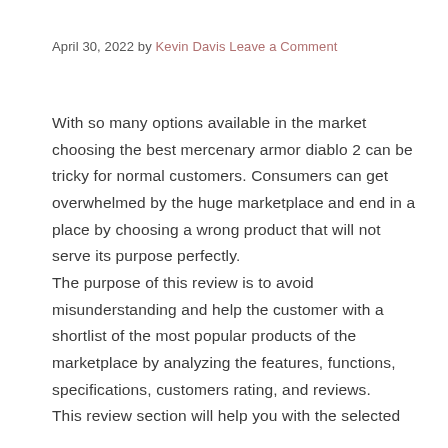April 30, 2022 by Kevin Davis Leave a Comment
With so many options available in the market choosing the best mercenary armor diablo 2 can be tricky for normal customers. Consumers can get overwhelmed by the huge marketplace and end in a place by choosing a wrong product that will not serve its purpose perfectly.
The purpose of this review is to avoid misunderstanding and help the customer with a shortlist of the most popular products of the marketplace by analyzing the features, functions, specifications, customers rating, and reviews.
This review section will help you with the selected